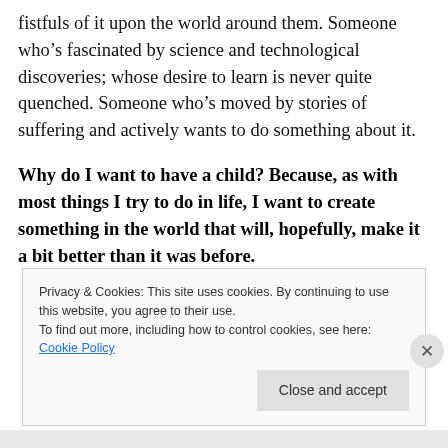fistfuls of it upon the world around them. Someone who's fascinated by science and technological discoveries; whose desire to learn is never quite quenched. Someone who's moved by stories of suffering and actively wants to do something about it.
Why do I want to have a child? Because, as with most things I try to do in life, I want to create something in the world that will, hopefully, make it a bit better than it was before.
Privacy & Cookies: This site uses cookies. By continuing to use this website, you agree to their use.
To find out more, including how to control cookies, see here: Cookie Policy